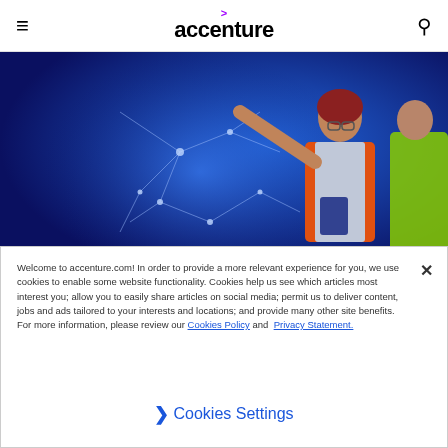accenture
[Figure (photo): A woman in an orange safety vest and glasses writing on a glowing blue interactive display board, with another person in a yellow safety vest visible in the background.]
Cloud
Unleash competitiveness with the Cloud
Welcome to accenture.com! In order to provide a more relevant experience for you, we use cookies to enable some website functionality. Cookies help us see which articles most interest you; allow you to easily share articles on social media; permit us to deliver content, jobs and ads tailored to your interests and locations; and provide many other site benefits. For more information, please review our Cookies Policy and Privacy Statement.
Cookies Settings